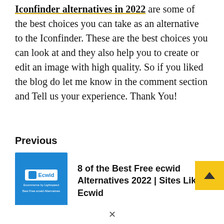Iconfinder alternatives in 2022 are some of the best choices you can take as an alternative to the Iconfinder. These are the best choices you can look at and they also help you to create or edit an image with high quality. So if you liked the blog do let me know in the comment section and Tell us your experience. Thank You!
Previous
[Figure (other): Blue thumbnail card for Ecwid article with Ecwid logo and subtitle text]
8 of the Best Free ecwid Alternatives 2022 | Sites Like Ecwid